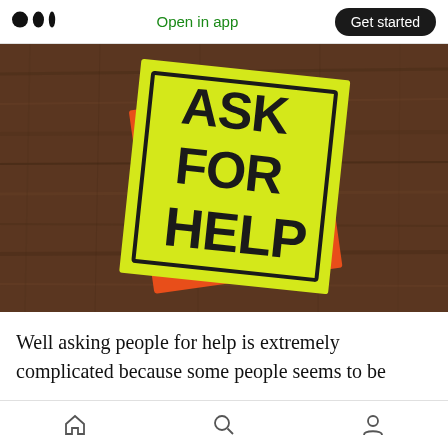Open in app | Get started
[Figure (photo): Yellow sticky note on a wooden surface with the text 'ASK FOR HELP' written in bold black marker, with a red/orange sticky note behind it.]
Well asking people for help is extremely complicated because some people seems to be
Home | Search | Profile